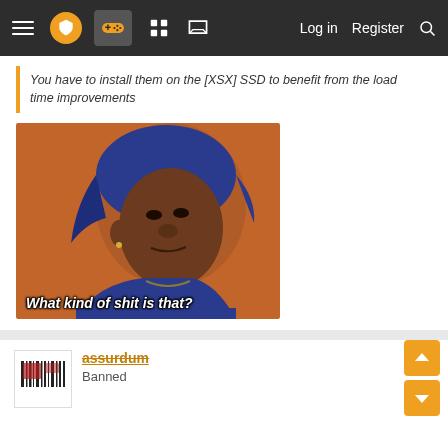Navigation bar with menu, logo, gamepad icon, grid icon, chat icon, Log in, Register, Search
You have to install them on the [XSX] SSD to benefit from the load time improvements
[Figure (photo): Meme image of a man wearing a blue du-rag looking skeptically with caption 'What kind of shit is that?']
assurdum
Banned